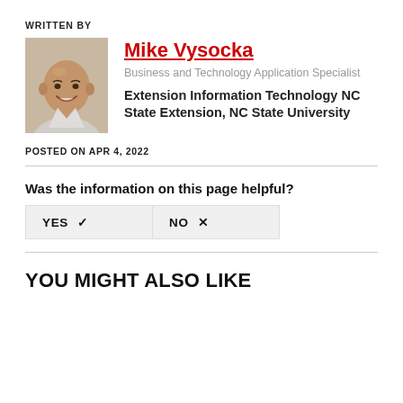WRITTEN BY
[Figure (photo): Headshot photo of Mike Vysocka, a bald smiling man wearing a light-colored shirt]
Mike Vysocka
Business and Technology Application Specialist
Extension Information Technology NC State Extension, NC State University
POSTED ON APR 4, 2022
Was the information on this page helpful?
YES ✓   NO ×
YOU MIGHT ALSO LIKE